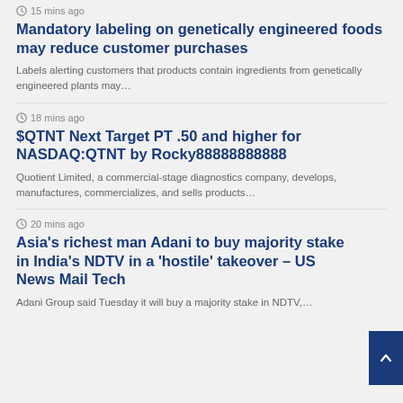15 mins ago
Mandatory labeling on genetically engineered foods may reduce customer purchases
Labels alerting customers that products contain ingredients from genetically engineered plants may…
18 mins ago
$QTNT Next Target PT .50 and higher for NASDAQ:QTNT by Rocky88888888888
Quotient Limited, a commercial-stage diagnostics company, develops, manufactures, commercializes, and sells products…
20 mins ago
Asia's richest man Adani to buy majority stake in India's NDTV in a 'hostile' takeover – US News Mail Tech
Adani Group said Tuesday it will buy a majority stake in NDTV,…